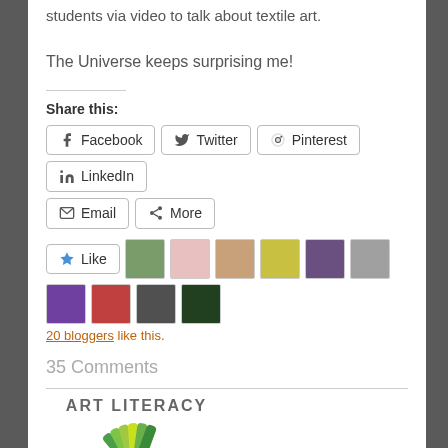students via video to talk about textile art.
The Universe keeps surprising me!
Share this:
Facebook  Twitter  Pinterest  LinkedIn  Email  More
[Figure (screenshot): Like button with star icon and 9 blogger avatar thumbnails]
20 bloggers like this.
35 Comments
[Figure (logo): Art Literacy logo with circular fan of colored leaves/cards]
BEAVERTON